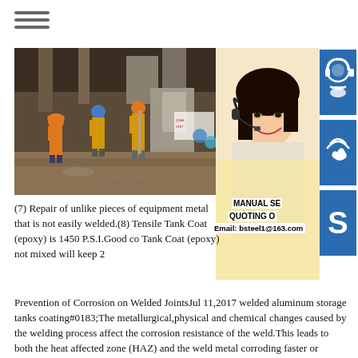[Figure (photo): Construction workers in orange safety vests and hard hats working underground or in a tunnel structure with heavy equipment and steel framework]
[Figure (photo): Smiling Asian woman wearing a headset, representing customer service, with blue icon buttons for headset/customer service, phone/call, and Skype overlaid on the right]
MANUAL SE
QUOTING O
Email: bsteel1@163.com
(7) Repair of unlike pieces of equipment metal that is not easily welded.(8) Tensile Tank Coat (epoxy) is 1450 P.S.I.Good co Tank Coat (epoxy) not mixed will keep 2
Prevention of Corrosion on Welded JointsJul 11,2017 welded aluminum storage tanks coating#0183;The metallurgical,physical and chemical changes caused by the welding process affect the corrosion resistance of the weld.This leads to both the heat affected zone (HAZ) and the weld metal corroding faster or slower than the base metal.Cases of uniform corrosion across the base metal and weld metal or the base